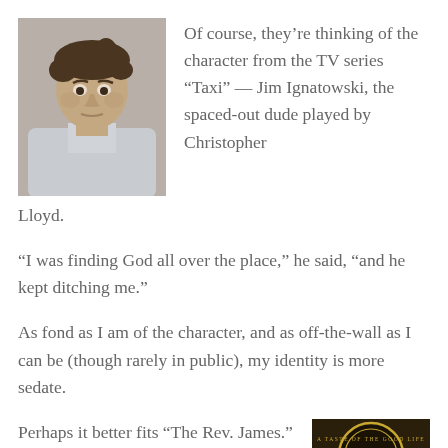[Figure (photo): Black and white photo of a man with disheveled hair and an intense expression, wearing a light-colored shirt — character from TV series Taxi]
Of course, they’re thinking of the character from the TV series “Taxi” — Jim Ignatowski, the spaced-out dude played by Christopher Lloyd.
“I was finding God all over the place,” he said, “and he kept ditching me.”
As fond as I am of the character, and as off-the-wall as I can be (though rarely in public), my identity is more sedate.
Perhaps it better fits “The Rev. James.” That’s the Rev.
[Figure (photo): Circular emblem/badge reading 'A TASTE OF THE GOOD LIFE' with a figure in the center]